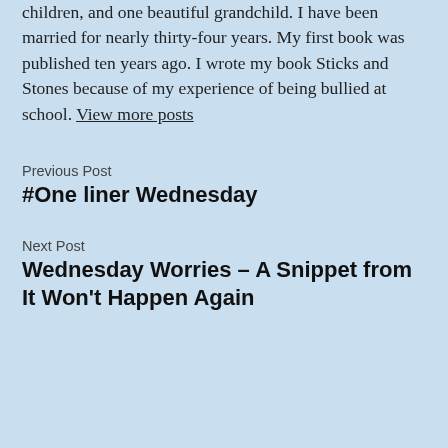children, and one beautiful grandchild. I have been married for nearly thirty-four years. My first book was published ten years ago. I wrote my book Sticks and Stones because of my experience of being bullied at school. View more posts
Previous Post
#One liner Wednesday
Next Post
Wednesday Worries – A Snippet from It Won't Happen Again